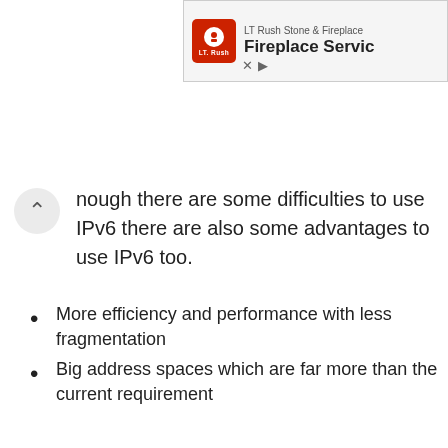[Figure (other): Advertisement banner for LT Rush Stone & Fireplace - Fireplace Service]
hough there are some difficulties to use IPv6 there are also some advantages to use IPv6 too.
More efficiency and performance with less fragmentation
Big address spaces which are far more than the current requirement
No need to the NAT with the extended IP address space
Network layer security is builtin
Stateless IP address auto-configuration for simple and easier network administration